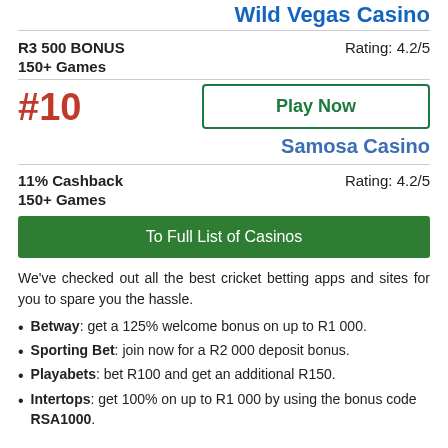Wild Vegas Casino
R3 500 BONUS
150+ Games
Rating: 4.2/5
[Figure (other): Play Now button with green border]
Samosa Casino
11% Cashback
150+ Games
Rating: 4.2/5
To Full List of Casinos
We've checked out all the best cricket betting apps and sites for you to spare you the hassle.
Betway: get a 125% welcome bonus on up to R1 000.
Sporting Bet: join now for a R2 000 deposit bonus.
Playabets: bet R100 and get an additional R150.
Intertops: get 100% on up to R1 000 by using the bonus code RSA1000.